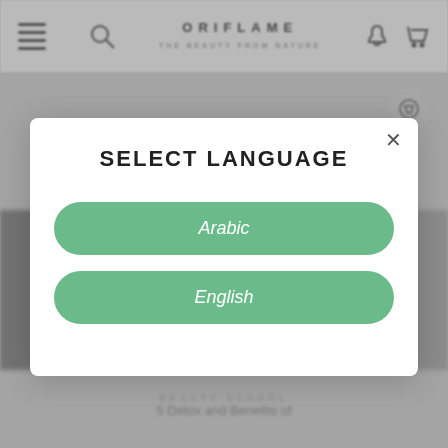[Figure (screenshot): Blurred Oriflame website header with hamburger menu, search icon, Oriflame logo, bell icon, and cart icon on a light grey background]
SELECT LANGUAGE
Arabic
English